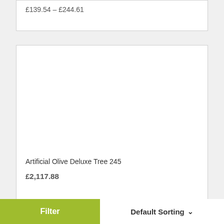£139.54 – £244.61
[Figure (photo): Product card with empty white image area for Artificial Olive Deluxe Tree 245]
Artificial Olive Deluxe Tree 245
£2,117.88
[Figure (logo): reCAPTCHA badge icon (blue puzzle-piece logo)]
Filter
Default Sorting ˅